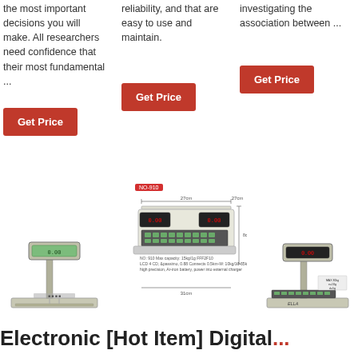the most important decisions you will make. All researchers need confidence that their most fundamental ...
reliability, and that are easy to use and maintain.
investigating the association between ...
Get Price
Get Price
Get Price
[Figure (photo): Digital weighing scale with pole display]
[Figure (photo): NO-910 digital price computing scale with dimensions and specs]
[Figure (photo): Digital price computing scale with pole display]
Electronic [Hot Item] Digital ...